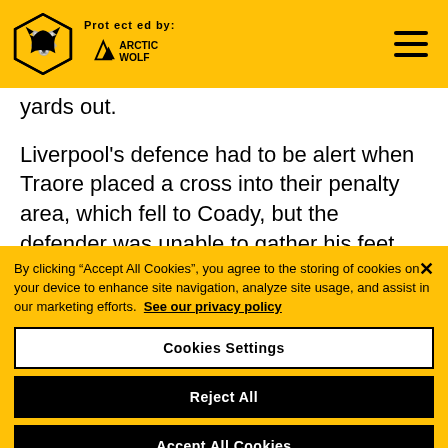Protected by: ARCTIC WOLF
yards out.
Liverpool's defence had to be alert when Traore placed a cross into their penalty area, which fell to Coady, but the defender was unable to gather his feet quick enough for an effort o
By clicking "Accept All Cookies", you agree to the storing of cookies on your device to enhance site navigation, analyze site usage, and assist in our marketing efforts. See our privacy policy
Cookies Settings
Reject All
Accept All Cookies